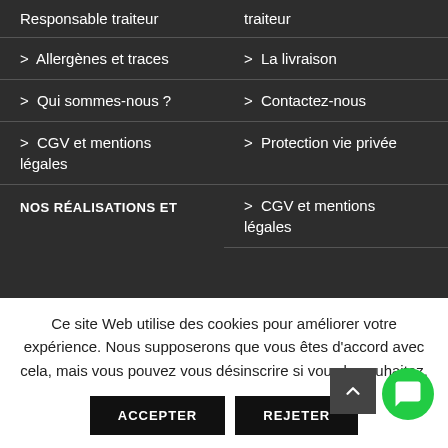Responsable traiteur
traiteur
> Allergènes et traces
> La livraison
> Qui sommes-nous ?
> Contactez-nous
> CGV et mentions légales
> Protection vie privée
> CGV et mentions légales
NOS RÉALISATIONS ET
Ce site Web utilise des cookies pour améliorer votre expérience. Nous supposerons que vous êtes d'accord avec cela, mais vous pouvez vous désinscrire si vous le souhaitez.
ACCEPTER
REJETER